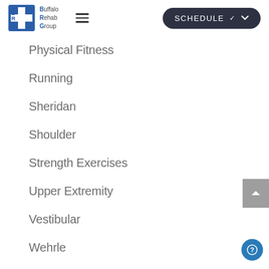Buffalo Rehab Group — SCHEDULE navigation header
Physical Fitness
Running
Sheridan
Shoulder
Strength Exercises
Upper Extremity
Vestibular
Wehrle
Winter Prevention
Women's Health
YMCA Turkey Trot